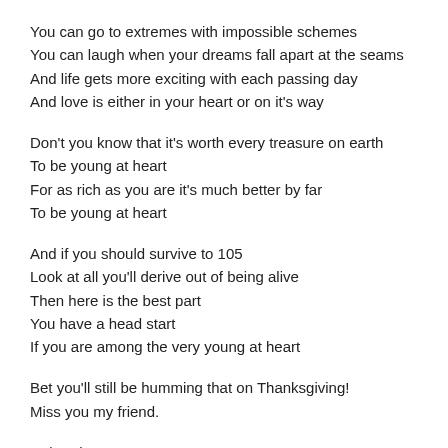You can go to extremes with impossible schemes
You can laugh when your dreams fall apart at the seams
And life gets more exciting with each passing day
And love is either in your heart or on it's way
Don't you know that it's worth every treasure on earth
To be young at heart
For as rich as you are it's much better by far
To be young at heart
And if you should survive to 105
Look at all you'll derive out of being alive
Then here is the best part
You have a head start
If you are among the very young at heart
Bet you'll still be humming that on Thanksgiving!
Miss you my friend.
Deborah
Reply